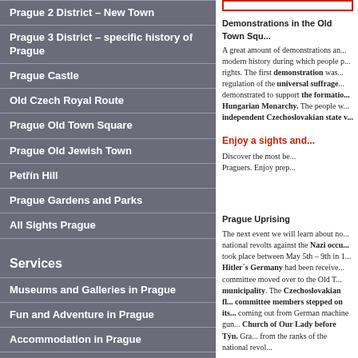Prague 2 District – New Town
Prague 3 District – specific history of Prague
Prague Castle
Old Czech Royal Route
Prague Old Town Square
Prague Old Jewish Town
Petřín Hill
Prague Gardens and Parks
All Sights Prague
Services
Museums and Galleries in Prague
Fun and Adventure in Prague
Accommodation in Prague
Restaurants in Prague – where to eat and drink
Prague
Prague
Demonstrations in the Old Town Square
A great amount of demonstrations and events took place in modern history during which people protested or celebrated their rights. The first demonstration was in 1905 when people demanded regulation of the universal suffrage. In 1918 people demonstrated to support the formation of independence from Austro-Hungarian Monarchy. The people were demonstrating for an independent Czechoslovakian state which was successful.
Enjoy a sights and...
Discover the most be... Praguers. Enjoy prep...
Prague Uprising
The next event we will learn about now is one of the last national revolts against the Nazi occupation of Czechoslovakia. It took place between May 5th – 9th in 1945. News about the fall of Hitler's Germany had been received and the Czech National Council committee moved over to the Old Town Hall to take over the municipality. The Czechoslovakian flag was placed on it and committee members stepped on its balcony, but shots were coming out from German machine guns placed in the nearby Church of Our Lady before Týn. Gradually members came from the ranks of the national revolters...